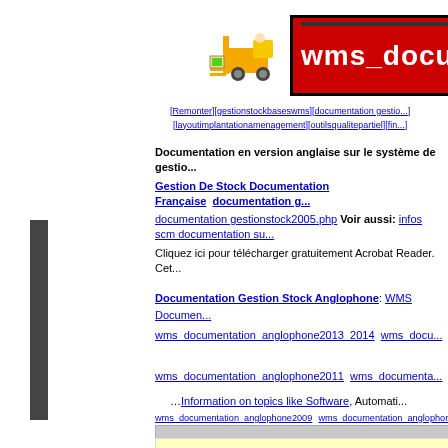[Figure (logo): Forklift icon (yellow forklift with yellow/green pallet)]
[Figure (logo): Red banner with white bold text 'wms_docu' (truncated)]
[Remonter][gestionstockbaseswms][documentation gestion...][layoutimplantationamenagement][outilsqualitepartiel][fin...]
Documentation en version anglaise sur le système de gestio... Gestion De Stock Documentation Française  documentation g... documentation gestionstock2005.php Voir aussi: infos scm documentation su... Cliquez ici pour télécharger gratuitement Acrobat Reader. Cet...
Documentation Gestion Stock Anglophone: WMS Documen... wms_documentation_anglophone2013_2014  wms_docu... wms_documentation_anglophone2011  wms_documenta... wms_documentation_anglophone2009  wms_documentation_anglophone20... wms_documentation_anglophone2007  wms_documentation_anglo...
…Information on topics like Software, Automati...